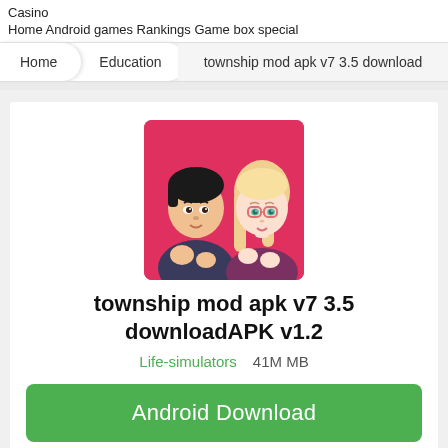Casino
Home Android games Rankings Game box special
Home  Education  township mod apk v7 3.5 downloadAPK v1.2
[Figure (illustration): App icon showing two illustrated anime-style characters (a dark-haired male and a blonde female with glasses) on a pink/red background, making heart shapes with their hands.]
township mod apk v7 3.5 downloadAPK v1.2
Life-simulators    41M MB
Android Download